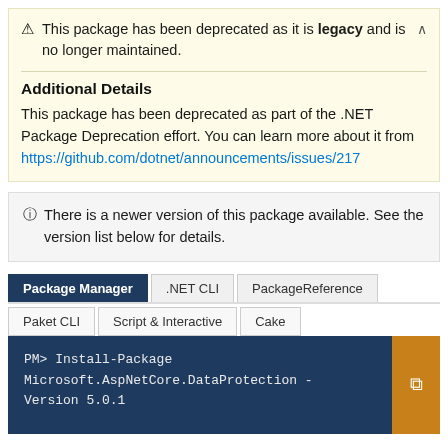⚠ This package has been deprecated as it is legacy and is no longer maintained.
Additional Details
This package has been deprecated as part of the .NET Package Deprecation effort. You can learn more about it from https://github.com/dotnet/announcements/issues/217
ⓘ There is a newer version of this package available. See the version list below for details.
Tabs: Package Manager | .NET CLI | PackageReference | Paket CLI | Script & Interactive | Cake
PM> Install-Package Microsoft.AspNetCore.DataProtection -Version 5.0.1